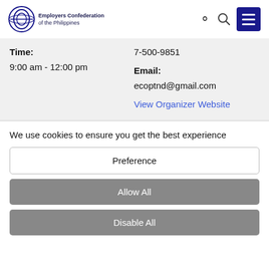Employers Confederation of the Philippines
Time:
9:00 am - 12:00 pm
7-500-9851
Email:
ecoptnd@gmail.com
View Organizer Website
We use cookies to ensure you get the best experience
Preference
Allow All
Disable All